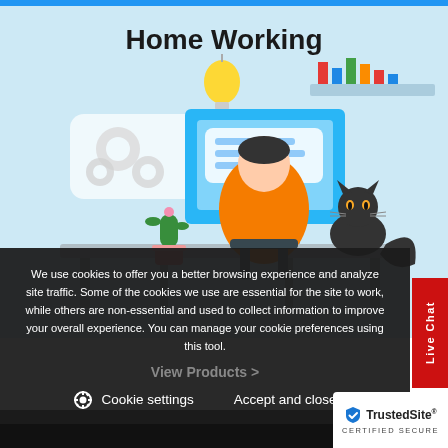[Figure (illustration): Home Working illustration: person seen from behind sitting at a desk with a computer monitor, wearing an orange-sleeved shirt. A black cat sits on the desk to the right. A cactus in a pot is on the left. Gear/settings icons float on the left, a lightbulb above center, and a bar chart on a shelf at top right. Light blue background.]
Home Working
We use cookies to offer you a better browsing experience and analyze site traffic. Some of the cookies we use are essential for the site to work, while others are non-essential and used to collect information to improve your overall experience. You can manage your cookie preferences using this tool.
View Products >
Cookie settings   Accept and close